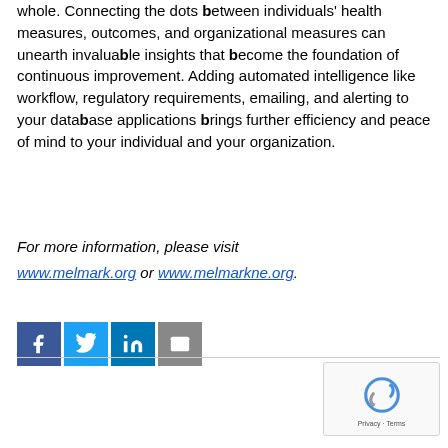whole. Connecting the dots between individuals' health measures, outcomes, and organizational measures can unearth invaluable insights that become the foundation of continuous improvement. Adding automated intelligence like workflow, regulatory requirements, emailing, and alerting to your database applications brings further efficiency and peace of mind to your individual and your organization.
For more information, please visit www.melmark.org or www.melmarkne.org.
[Figure (infographic): Social media sharing icons: Facebook (blue), Twitter (light blue), LinkedIn (dark blue), Email (gray)]
[Figure (other): reCAPTCHA widget showing Google reCAPTCHA logo with Privacy and Terms links]